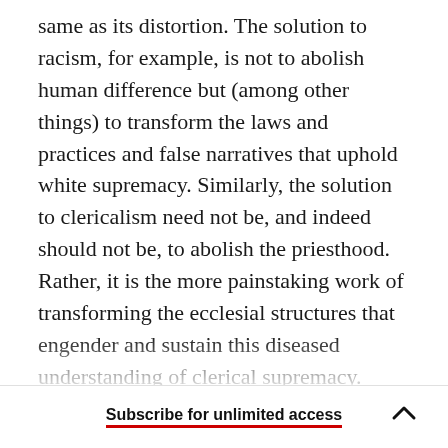same as its distortion. The solution to racism, for example, is not to abolish human difference but (among other things) to transform the laws and practices and false narratives that uphold white supremacy. Similarly, the solution to clericalism need not be, and indeed should not be, to abolish the priesthood. Rather, it is the more painstaking work of transforming the ecclesial structures that engender and sustain this diseased understanding of clerical supremacy.

Carroll and I are emphatically of one mind about the harm that clericalism has caused the People of
Subscribe for unlimited access